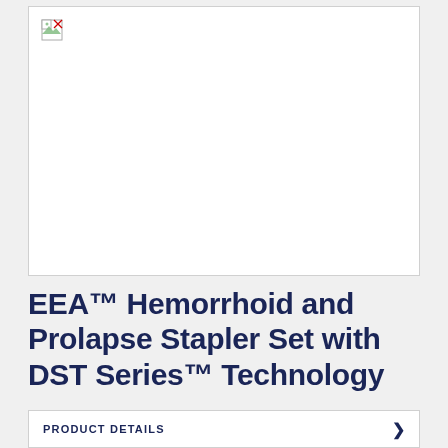[Figure (photo): Product image placeholder for EEA Hemorrhoid and Prolapse Stapler Set with DST Series Technology - image failed to load (broken image icon shown)]
EEA™ Hemorrhoid and Prolapse Stapler Set with DST Series™ Technology
PRODUCT DETAILS